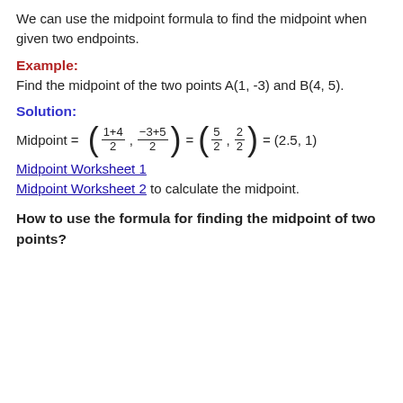We can use the midpoint formula to find the midpoint when given two endpoints.
Example:
Find the midpoint of the two points A(1, -3) and B(4, 5).
Solution:
Midpoint Worksheet 1
Midpoint Worksheet 2 to calculate the midpoint.
How to use the formula for finding the midpoint of two points?